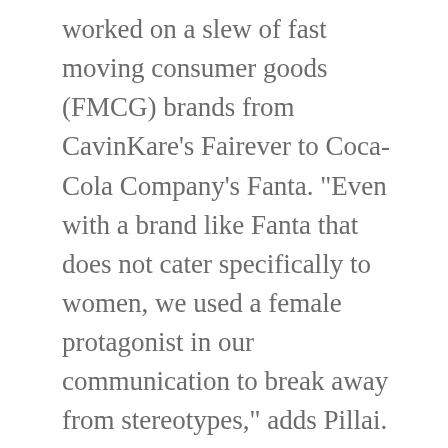worked on a slew of fast moving consumer goods (FMCG) brands from CavinKare’s Fairever to Coca-Cola Company’s Fanta. “Even with a brand like Fanta that does not cater specifically to women, we used a female protagonist in our communication to break away from stereotypes,” adds Pillai. Although Fanta’s brand ambassadors have changed from one actress to another, the concept remains confidence over aggression, best conveyed by a woman.
Soft sell
The essential difference between selling to